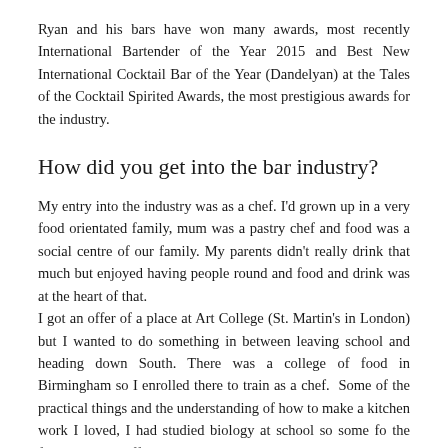Ryan and his bars have won many awards, most recently International Bartender of the Year 2015 and Best New International Cocktail Bar of the Year (Dandelyan) at the Tales of the Cocktail Spirited Awards, the most prestigious awards for the industry.
How did you get into the bar industry?
My entry into the industry was as a chef. I'd grown up in a very food orientated family, mum was a pastry chef and food was a social centre of our family. My parents didn't really drink that much but enjoyed having people round and food and drink was at the heart of that.
I got an offer of a place at Art College (St. Martin's in London) but I wanted to do something in between leaving school and heading down South. There was a college of food in Birmingham so I enrolled there to train as a chef.  Some of the practical things and the understanding of how to make a kitchen work I loved, I had studied biology at school so some fo the food science stuff really appealed to me. But